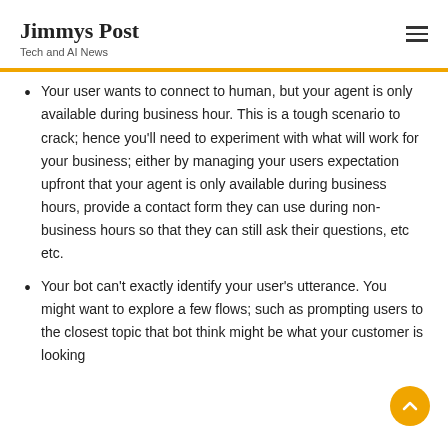Jimmys Post
Tech and AI News
Your user wants to connect to human, but your agent is only available during business hour. This is a tough scenario to crack; hence you'll need to experiment with what will work for your business; either by managing your users expectation upfront that your agent is only available during business hours, provide a contact form they can use during non-business hours so that they can still ask their questions, etc etc.
Your bot can't exactly identify your user's utterance. You might want to explore a few flows; such as prompting users to the closest topic that bot think might be what your customer is looking